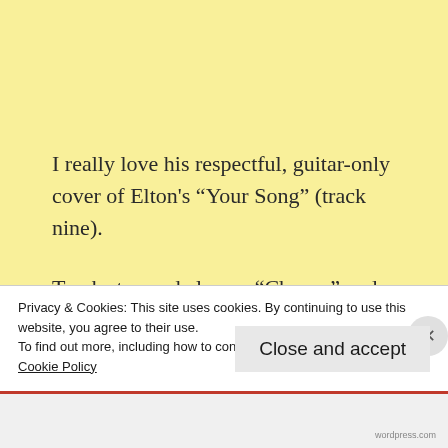I really love his respectful, guitar-only cover of Elton's “Your Song” (track nine).
Tracks ten and eleven, “Chance” and “Decline” respectively, are both big beat instrumentals and “Trinity” is basically sfx and a pure question mark for this listener. Number
Privacy & Cookies: This site uses cookies. By continuing to use this website, you agree to their use.
To find out more, including how to control cookies, see here:
Cookie Policy
Close and accept